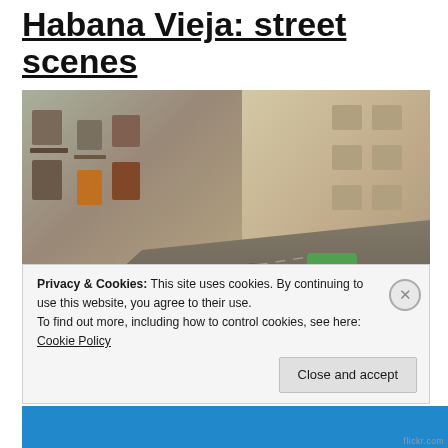Habana Vieja: street scenes
[Figure (photo): Street scene in Habana Vieja, Cuba. A bustling urban street with vintage cars including a red classic car in the foreground and a green classic car in the middle. A motorcyclist with a sidecar rides in the center. Buildings line both sides of the street, showing colorful storefronts and weathered facades. People are visible on the sidewalks.]
Privacy & Cookies: This site uses cookies. By continuing to use this website, you agree to their use.
To find out more, including how to control cookies, see here:
Cookie Policy
Close and accept